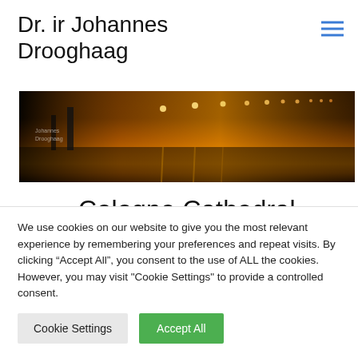Dr. ir Johannes Drooghaag
[Figure (photo): Night photo of Cologne Cathedral area with street lights and bridge]
Cologne Cathedral
Kölner Dom
We use cookies on our website to give you the most relevant experience by remembering your preferences and repeat visits. By clicking “Accept All”, you consent to the use of ALL the cookies. However, you may visit "Cookie Settings" to provide a controlled consent.
Cookie Settings
Accept All